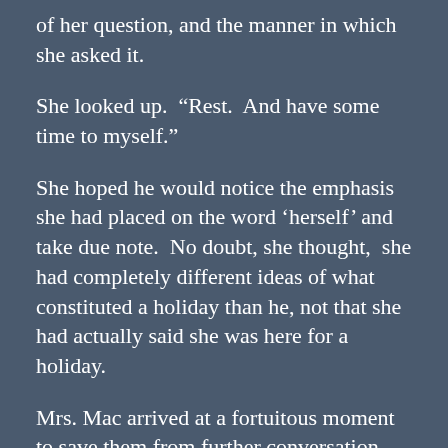of her question, and the manner in which she asked it.
She looked up.  “Rest.  And have some time to myself.”
She hoped he would notice the emphasis she had placed on the word ‘herself’ and take due note.  No doubt, she thought,  she had completely different ideas of what constituted a holiday than he, not that she had actually said she was here for a holiday.
Mrs. Mac arrived at a fortuitous moment to save them from further conversation.
Over the entree, she wondered if she had